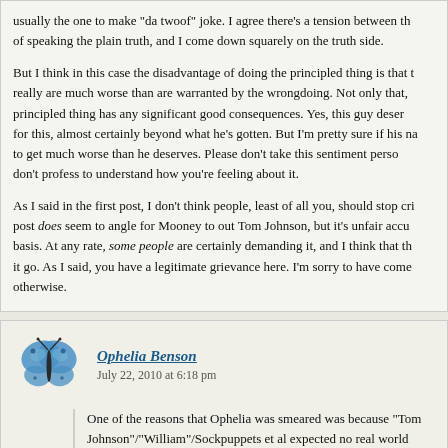usually the one to make "da twoof" joke. I agree there's a tension between the of speaking the plain truth, and I come down squarely on the truth side.
But I think in this case the disadvantage of doing the principled thing is that really are much worse than are warranted by the wrongdoing. Not only that, principled thing has any significant good consequences. Yes, this guy deserv for this, almost certainly beyond what he's gotten. But I'm pretty sure if his na to get much worse than he deserves. Please don't take this sentiment perso don't profess to understand how you're feeling about it.
As I said in the first post, I don't think people, least of all you, should stop cri post does seem to angle for Mooney to out Tom Johnson, but it's unfair accu basis. At any rate, some people are certainly demanding it, and I think that th it go. As I said, you have a legitimate grievance here. I'm sorry to have come otherwise.
Ophelia Benson
July 22, 2010 at 6:18 pm
One of the reasons that Ophelia was smeared was because "Tom Johnson"/"William"/Sockpuppets et al expected no real world accou defamation.